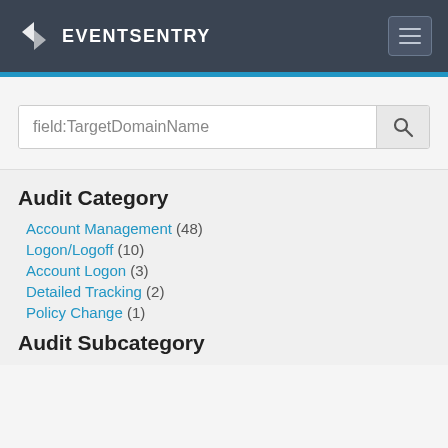EVENTSENTRY
field:TargetDomainName
Audit Category
Account Management (48)
Logon/Logoff (10)
Account Logon (3)
Detailed Tracking (2)
Policy Change (1)
Audit Subcategory